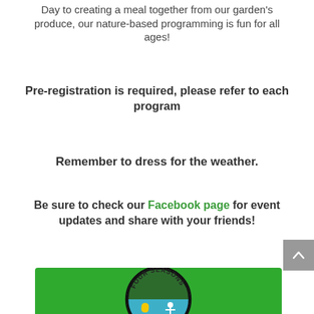Day to creating a meal together from our garden's produce, our nature-based programming is fun for all ages!
Pre-registration is required, please refer to each program
Remember to dress for the weather.
Be sure to check our Facebook page for event updates and share with your friends!
[Figure (logo): Four Seasons logo — circular badge on green background, partially visible at bottom of page]